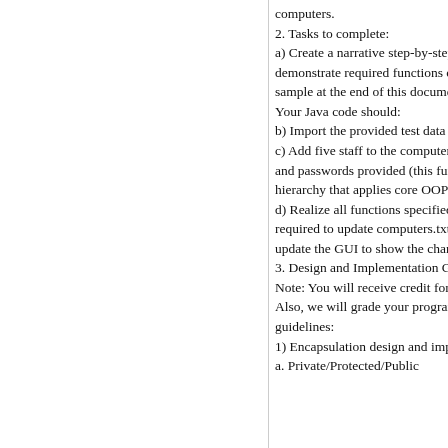computers.
2. Tasks to complete:
a) Create a narrative step-by-step
demonstrate required functions o
sample at the end of this documer
Your Java code should:
b) Import the provided test data (
c) Add five staff to the computer
and passwords provided (this fun
hierarchy that applies core OOP c
d) Realize all functions specified
required to update computers.txt
update the GUI to show the chanğ
3. Design and Implementation Gu
Note: You will receive credit for
Also, we will grade your program
guidelines:
1) Encapsulation design and impl
a. Private/Protected/Public